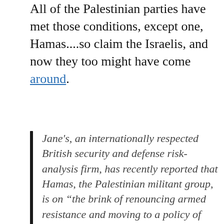All of the Palestinian parties have met those conditions, except one, Hamas....so claim the Israelis, and now they too might have come around.
Jane's, an internationally respected British security and defense risk-analysis firm, has recently reported that Hamas, the Palestinian militant group, is on “the brink of renouncing armed resistance and moving to a policy of nonviolent resistance to Israel.” Jane’s, with which I have been a monthly writer to three of its publications since 2007, has several hard-to-ignore quotes in its report of Hamas leaders saying that the move...